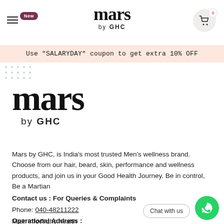mars by GHC — navigation header with hamburger menu, New badge, logo, and cart icon (0 items)
Use "SALARYDAY" coupon to get extra 10% OFF
[Figure (logo): Large Mars by GHC logo — 'mars' in large bold serif font, 'by GHC' in smaller sans-serif below]
Mars by GHC, is India's most trusted Men's wellness brand. Choose from our hair, beard, skin, performance and wellness products, and join us in your Good Health Journey. Be in control, Be a Martian
Contact us : For Queries & Complaints
Phone: 040-48211222
Mail: info@ghc.health
Operational Address :
8-2-326/5 ROAD NO 3 Banjara Hills, Jubilee Hills Circle No 18, Hyderabad,